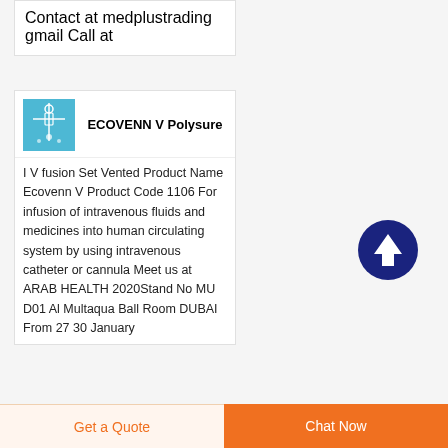Contact at medplustrading gmail Call at
ECOVENN V Polysure
I V fusion Set Vented Product Name Ecovenn V Product Code 1106 For infusion of intravenous fluids and medicines into human circulating system by using intravenous catheter or cannula Meet us at ARAB HEALTH 2020Stand No MU D01 Al Multaqua Ball Room DUBAI From 27 30 January
[Figure (illustration): Blue product thumbnail image of IV infusion set]
[Figure (infographic): Dark blue circular scroll-to-top button with upward arrow]
Get a Quote
Chat Now